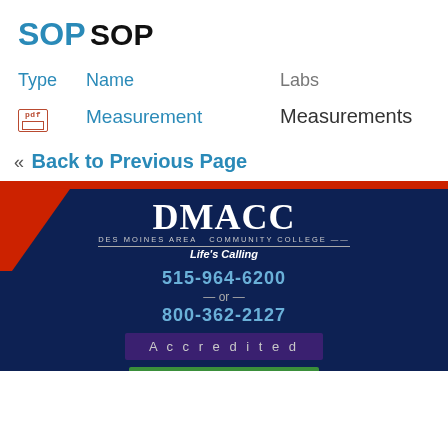SOP
SOP
| Type | Name | Labs |
| --- | --- | --- |
| [pdf icon] | Measurement | Measurements |
« Back to Previous Page
[Figure (logo): DMACC - Des Moines Area Community College, Life's Calling logo with footer containing phone numbers 515-964-6200 and 800-362-2127, Accredited button, and Make a Gift button]